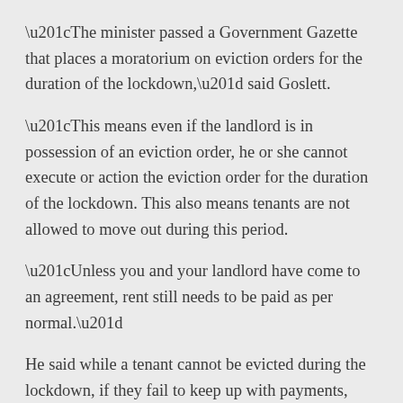“The minister passed a Government Gazette that places a moratorium on eviction orders for the duration of the lockdown,” said Goslett.
“This means even if the landlord is in possession of an eviction order, he or she cannot execute or action the eviction order for the duration of the lockdown. This also means tenants are not allowed to move out during this period.
“Unless you and your landlord have come to an agreement, rent still needs to be paid as per normal.”
He said while a tenant cannot be evicted during the lockdown, if they fail to keep up with payments, they can be forced to vacate the premises once the lockdown period is over (depending on the terms in the lease agreement).